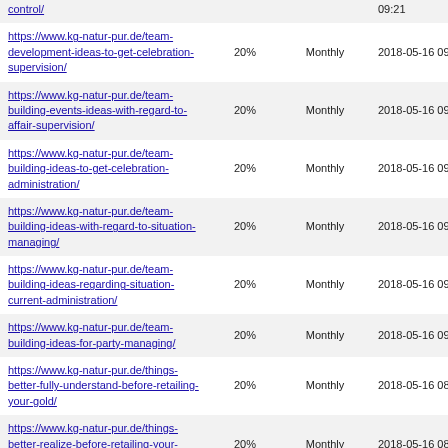| URL | Priority | Change Frequency | Last Modified |
| --- | --- | --- | --- |
| https://www.kg-natur-pur.de/...-control/ | 20% | Monthly | 2018-05-16 09:21 |
| https://www.kg-natur-pur.de/team-development-ideas-to-get-celebration-supervision/ | 20% | Monthly | 2018-05-16 09:20 |
| https://www.kg-natur-pur.de/team-building-events-ideas-with-regard-to-affair-supervision/ | 20% | Monthly | 2018-05-16 09:18 |
| https://www.kg-natur-pur.de/team-building-ideas-to-get-celebration-administration/ | 20% | Monthly | 2018-05-16 09:13 |
| https://www.kg-natur-pur.de/team-building-ideas-with-regard-to-situation-managing/ | 20% | Monthly | 2018-05-16 09:12 |
| https://www.kg-natur-pur.de/team-building-ideas-regarding-situation-current-administration/ | 20% | Monthly | 2018-05-16 09:11 |
| https://www.kg-natur-pur.de/team-building-ideas-for-party-managing/ | 20% | Monthly | 2018-05-16 09:09 |
| https://www.kg-natur-pur.de/things-better-fully-understand-before-retailing-your-gold/ | 20% | Monthly | 2018-05-16 08:15 |
| https://www.kg-natur-pur.de/things-better-realize-before-retailing-your-money/ | 20% | Monthly | 2018-05-16 08:14 |
| https://www.kg-natur-pur.de/things-better-recognize-before-retailing-your-precious-metal/ | 20% | Monthly | 2018-05-16 08:13 |
| https://www.kg-natur-pur.de/things-... | 20% | Monthly | ... |